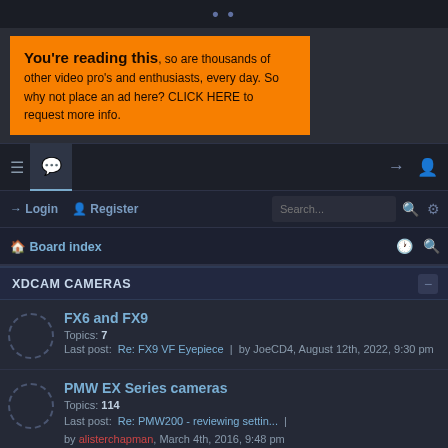[Figure (screenshot): Forum website screenshot showing XDCAM Cameras section with navigation bar, login bar, board index, and forum topics including FX6 and FX9, PMW EX Series cameras, and PMW 320 350 500]
You're reading this, so are thousands of other video pro's and enthusiasts, every day. So why not place an ad here? CLICK HERE to request more info.
Login  Register  Search...
Board index
XDCAM CAMERAS
FX6 and FX9
Topics: 7
Last post: Re: FX9 VF Eyepiece | by JoeCD4, August 12th, 2022, 9:30 pm
PMW EX Series cameras
Topics: 114
Last post: Re: PMW200 - reviewing settin... | by alisterchapman, March 4th, 2016, 9:48 pm
PMW 320, 350, 500 Full size SxS camcorders